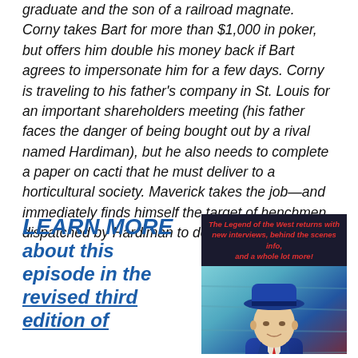graduate and the son of a railroad magnate. Corny takes Bart for more than $1,000 in poker, but offers him double his money back if Bart agrees to impersonate him for a few days. Corny is traveling to his father's company in St. Louis for an important shareholders meeting (his father faces the danger of being bought out by a rival named Hardiman), but he also needs to complete a paper on cacti that he must deliver to a horticultural society. Maverick takes the job—and immediately finds himself the target of henchmen dispatched by Hardiman to derail Corny.
LEARN MORE about this episode in the revised third edition of
[Figure (photo): A promotional image with dark banner text reading 'The Legend of the West returns with new interviews, behind the scenes info, and a whole lot more!' above an illustrated portrait of a man in a blue hat and suit jacket.]